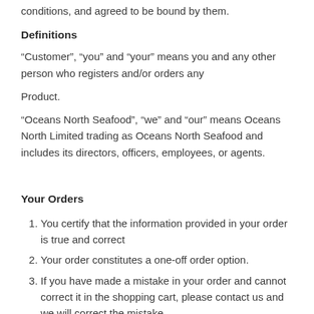conditions, and agreed to be bound by them.
Definitions
“Customer”, “you” and “your” means you and any other person who registers and/or orders any
Product.
“Oceans North Seafood”, “we” and “our” means Oceans North Limited trading as Oceans North Seafood and includes its directors, officers, employees, or agents.
Your Orders
You certify that the information provided in your order is true and correct
Your order constitutes a one-off order option.
If you have made a mistake in your order and cannot correct it in the shopping cart, please contact us and we will correct the mistake.